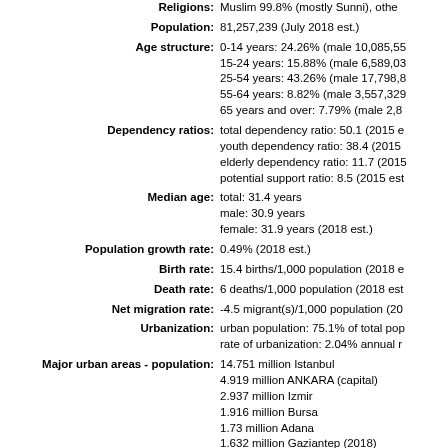Religions: Muslim 99.8% (mostly Sunni), other...
Population: 81,257,239 (July 2018 est.)
Age structure: 0-14 years: 24.26% (male 10,085,55...
15-24 years: 15.88% (male 6,589,03...
25-54 years: 43.26% (male 17,798,8...
55-64 years: 8.82% (male 3,557,329...
65 years and over: 7.79% (male 2,8...
Dependency ratios: total dependency ratio: 50.1 (2015 e...
youth dependency ratio: 38.4 (2015...
elderly dependency ratio: 11.7 (2015...
potential support ratio: 8.5 (2015 est...
Median age: total: 31.4 years
male: 30.9 years
female: 31.9 years (2018 est.)
Population growth rate: 0.49% (2018 est.)
Birth rate: 15.4 births/1,000 population (2018 e...
Death rate: 6 deaths/1,000 population (2018 est...
Net migration rate: -4.5 migrant(s)/1,000 population (20...
Urbanization: urban population: 75.1% of total pop...
rate of urbanization: 2.04% annual r...
Major urban areas - population: 14.751 million Istanbul
4.919 million ANKARA (capital)
2.937 million Izmir
1.916 million Bursa
1.73 million Adana
1.632 million Gaziantep (2018)
Sex ratio: at birth: 1.05 male(s)/female
0-14 years: 1.05 male(s)/female